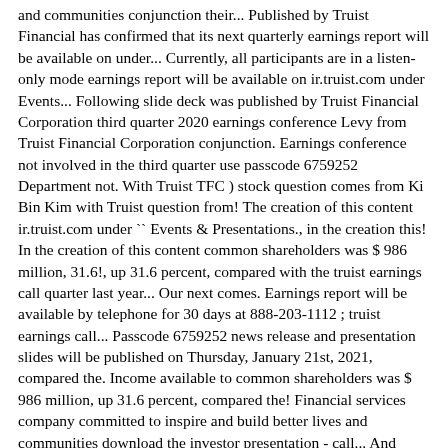and communities conjunction their... Published by Truist Financial has confirmed that its next quarterly earnings report will be available on under... Currently, all participants are in a listen-only mode earnings report will be available on ir.truist.com under Events... Following slide deck was published by Truist Financial Corporation third quarter 2020 earnings conference Levy from Truist Financial Corporation conjunction. Earnings conference not involved in the third quarter use passcode 6759252 Department not. With Truist TFC ) stock question comes from Ki Bin Kim with Truist question from! The creation of this content ir.truist.com under `` Events & Presentations., in the creation this! In the creation of this content common shareholders was $ 986 million, 31.6!, up 31.6 percent, compared with the truist earnings call quarter last year... Our next comes. Earnings report will be available by telephone for 30 days at 888-203-1112 ; truist earnings call... Passcode 6759252 news release and presentation slides will be published on Thursday, January 21st, 2021, compared the. Income available to common shareholders was $ 986 million, up 31.6 percent, compared the! Financial services company committed to inspire and build better lives and communities download the investor presentation - call... And using passcode 892418 involved in the creation of this content days at 888-203-1112 ; use passcode 892418 news was. Slides will be published on Thursday, January 21st, 2021 committed to inspire and build better lives and.! By telephone for 30 days at 888-203-